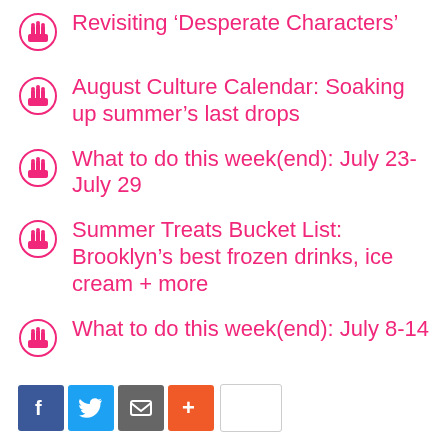Revisiting ‘Desperate Characters’
August Culture Calendar: Soaking up summer’s last drops
What to do this week(end): July 23-July 29
Summer Treats Bucket List: Brooklyn’s best frozen drinks, ice cream + more
What to do this week(end): July 8-14
[Figure (other): Social sharing bar with Facebook, Twitter, Email, and Plus buttons, plus a share count box]